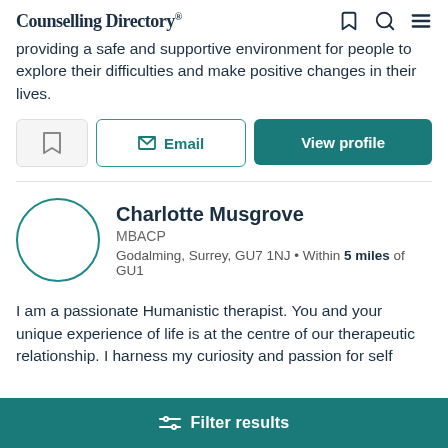Counselling Directory
providing a safe and supportive environment for people to explore their difficulties and make positive changes in their lives.
Email | View profile
Charlotte Musgrove
MBACP
Godalming, Surrey, GU7 1NJ • Within 5 miles of GU1
I am a passionate Humanistic therapist. You and your unique experience of life is at the centre of our therapeutic relationship. I harness my curiosity and passion for self
Filter results